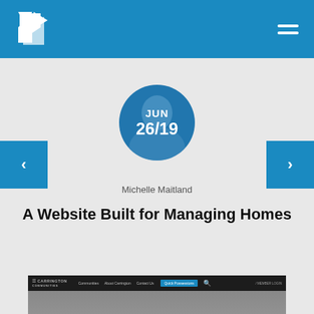Navigation header with logo and menu
[Figure (photo): Circular avatar/profile photo with date overlay showing JUN 26/19 on blue background]
Michelle Maitland
A Website Built for Managing Homes
[Figure (screenshot): Screenshot of Carrington Communities website showing navigation bar with Communities, About Carrington, Contact Us links and a Quick Possessions button]